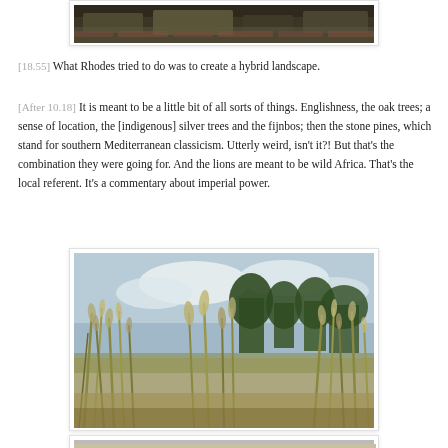[Figure (photo): Partial view of a stone wall with vegetation growing over it, photographed outdoors.]
[18.55] What Rhodes tried to do was to create a hybrid landscape.
[After 10.18] It is meant to be a little bit of all sorts of things. Englishness, the oak trees; a sense of location, the [indigenous] silver trees and the fijnbos; then the stone pines, which stand for southern Mediterranean classicism. Utterly weird, isn't it?! But that's the combination they were going for. And the lions are meant to be wild Africa. That's the local referent. It's a commentary about imperial power.
[Figure (photo): Outdoor landscape photograph showing tall grasses and reeds in the foreground with trees and a cloudy sky in the background.]
[Figure (photo): Partially visible photograph at the bottom of the page.]